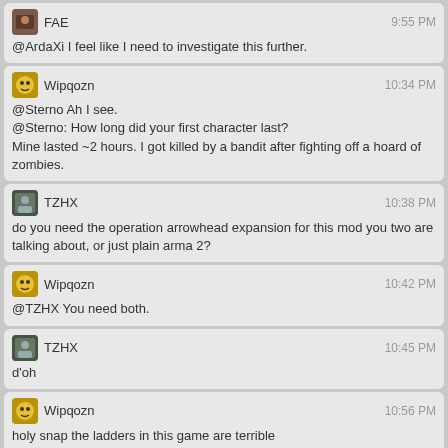FAE 9:55 PM
@ArdaXi I feel like I need to investigate this further.
Wipqozn 10:34 PM
@Sterno Ah I see.
@Sterno: How long did your first character last?
Mine lasted ~2 hours. I got killed by a bandit after fighting off a hoard of zombies.
TZHX 10:38 PM
do you need the operation arrowhead expansion for this mod you two are talking about, or just plain arma 2?
Wipqozn 10:42 PM
@TZHX You need both.
TZHX 10:45 PM
d'oh
Wipqozn 10:56 PM
holy snap the ladders in this game are terrible
I'm curious if t's Arma or DAyZ
TZHX 11:06 PM
from what I remember of arma, I'd say it was arma.
FAE 11:18 PM
G'night Bridge.